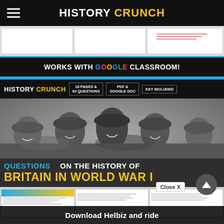HISTORY CRUNCH
[Figure (screenshot): Three document thumbnail previews (white boxes) on gray background]
[Figure (illustration): Banner: WORKS WITH GOOGLE CLASSROOM! on black background with blue border]
[Figure (photo): History Crunch product banner showing: HISTORY CRUNCH logo, badges: 18 PAGES & 62 QUESTIONS, PDF & GOOGLE DOC, KEY INCLUDED. Below: black-and-white photo of smiling WWI soldiers in helmets. Text overlay: QUESTIONS ON THE HISTORY OF BRITAIN IN WORLD WAR I]
[Figure (screenshot): Three worksheet thumbnail previews on gray background]
Close X
Download Helbiz and ride